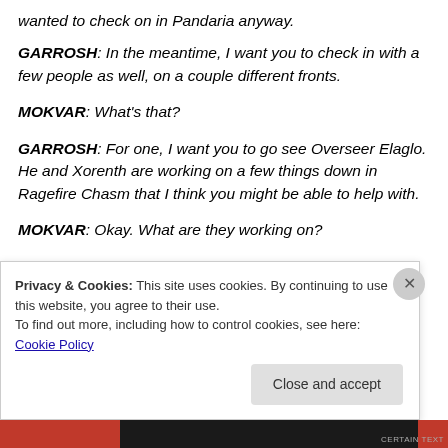wanted to check on in Pandaria anyway.
GARROSH:  In the meantime, I want you to check in with a few people as well, on a couple different fronts.
MOKVAR:  What's that?
GARROSH:  For one, I want you to go see Overseer Elaglo.  He and Xorenth are working on a few things down in Ragefire Chasm that I think you might be able to help with.
MOKVAR:  Okay.  What are they working on?
Privacy & Cookies: This site uses cookies. By continuing to use this website, you agree to their use.
To find out more, including how to control cookies, see here: Cookie Policy
Close and accept